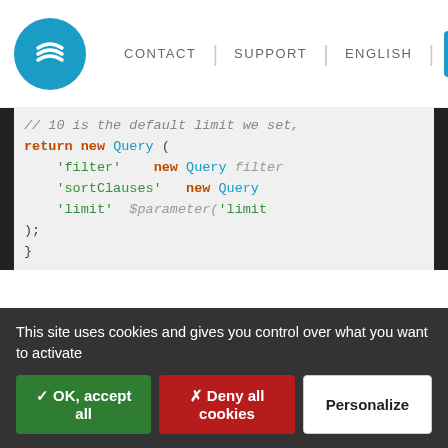CONTACT | SUPPORT | ENGLISH
[Figure (screenshot): Code editor screenshot showing PHP code with syntax highlighting: comment '// 10 is the default limit we set,', return new Query with 'filter', 'sortClauses', 'limit' keys, then public static function getXMKey(), return 'CRParameterProvider:GetCh...', then docblock /** * Returns an array listing the paramete... * @return array]
This site uses cookies and gives you control over what you want to activate
✓ OK, accept all
✗ Deny all cookies
Personalize